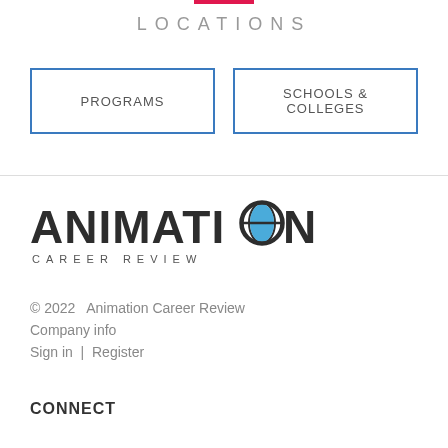LOCATIONS
PROGRAMS
SCHOOLS & COLLEGES
[Figure (logo): Animation Career Review logo — large stylized text ANIMATION with a blue globe in the O, and CAREER REVIEW in spaced capitals below]
© 2022  Animation Career Review
Company info
Sign in  |  Register
CONNECT